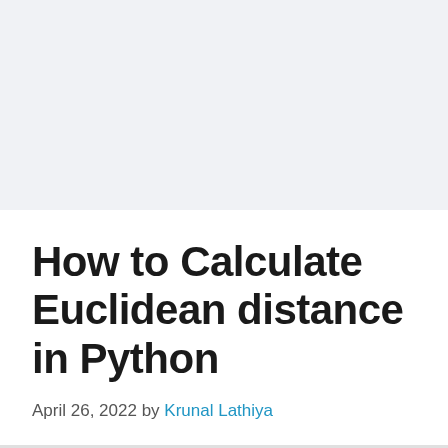[Figure (other): Light gray banner area at top of page, likely an advertisement or image placeholder]
How to Calculate Euclidean distance in Python
April 26, 2022 by Krunal Lathiya